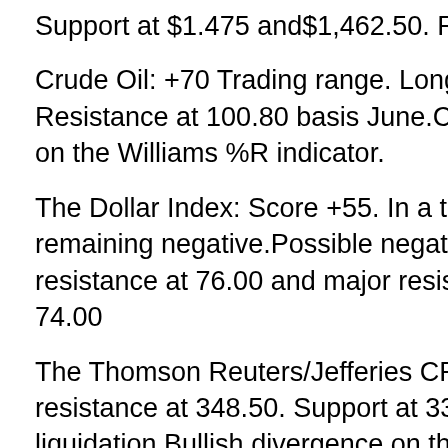Support at $1.475 and$1,462.50. Resistance at $1,526.Trading Range
Crude Oil: +70 Trading range. Long term indicator remains positive. Resistance at 100.80 basis June.Choppy market. Possible bullish divergence on the Williams %R indicator.
The Dollar Index: Score +55. In a trading range with the longer term outlook remaining negative.Possible negative divergence. Look for a pullback?? Minor resistance at 76.00 and major resistance remains at 77.50. Minor support at 74.00
The Thomson Reuters/Jefferies CRB Commodity Index: Score -55. Near-term resistance at 348.50. Support at 333.50.Market very oversold on hedge fund liquidation.Bullish divergence on the Williams %R indicator
Watch tonight's LIVE episode of MarketClub TV at 7PM ET tonight to see how you can win a FREE one year membership to MarketClub...